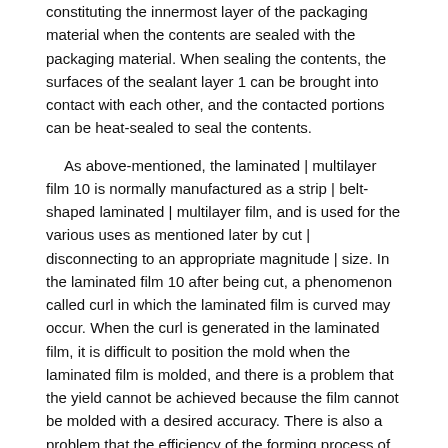constituting the innermost layer of the packaging material when the contents are sealed with the packaging material. When sealing the contents, the surfaces of the sealant layer 1 can be brought into contact with each other, and the contacted portions can be heat-sealed to seal the contents.
As above-mentioned, the laminated | multilayer film 10 is normally manufactured as a strip | belt-shaped laminated | multilayer film, and is used for the various uses as mentioned later by cut | disconnecting to an appropriate magnitude | size. In the laminated film 10 after being cut, a phenomenon called curl in which the laminated film is curved may occur. When the curl is generated in the laminated film, it is difficult to position the mold when the laminated film is molded, and there is a problem that the yield cannot be achieved because the film cannot be molded with a desired accuracy. There is also a problem that the efficiency of the forming process of the laminated film is lowered.
On the other hand, in the laminated film 10, the spectral intensity ratio between the crystal part and the amorphous part of the resin measured by Raman spectroscopy in the